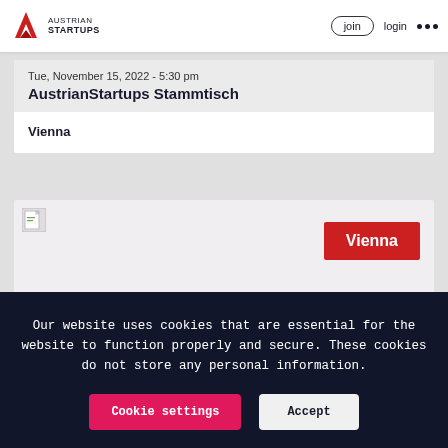Austrian Startups — join  login  ...
Tue, November 15, 2022 - 5:30 pm
AustrianStartups Stammtisch
Vienna
[Figure (screenshot): Event card with a broken image icon on the left and a red 'Vienna' badge on the right]
Vienna
Our website uses cookies that are essential for the website to function properly and secure. These cookies do not store any personal information.
Cookie settings
Accept